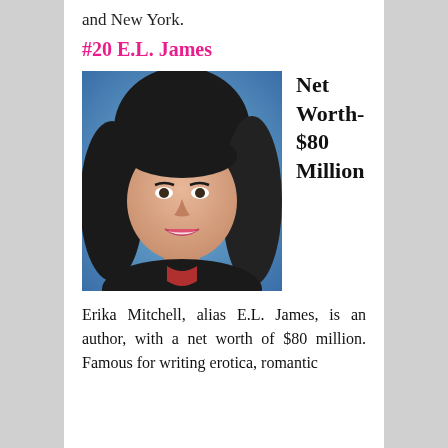and New York.
#20 E.L. James
[Figure (photo): Photo of E.L. James (Erika Mitchell), a woman with dark shoulder-length hair, smiling, against a blue background]
Net Worth- $80 Million
Erika Mitchell, alias E.L. James, is an author, with a net worth of $80 million. Famous for writing erotica, romantic novels, fan fiction, and the